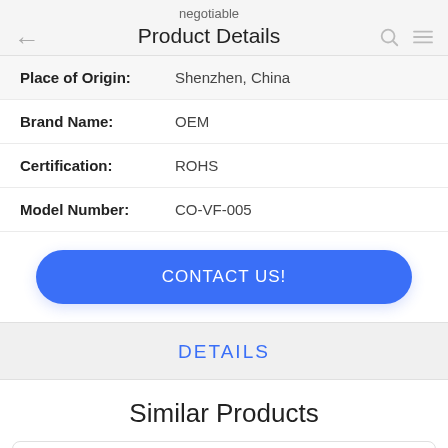negotiable Product Details
Place of Origin: Shenzhen, China
Brand Name: OEM
Certification: ROHS
Model Number: CO-VF-005
CONTACT US!
DETAILS
Similar Products
Leak Proof 500Ml